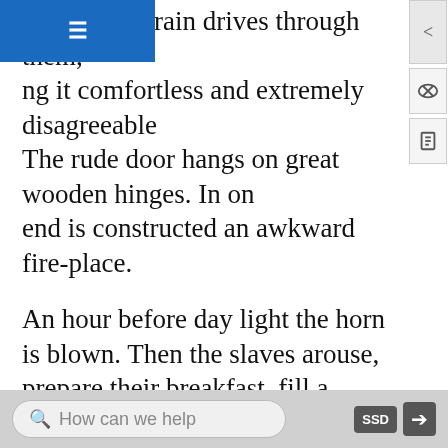weather the rain drives through them, ng it comfortless and extremely disagreeable The rude door hangs on great wooden hinges. In on end is constructed an awkward fire-place.
An hour before day light the horn is blown. Then the slaves arouse, prepare their breakfast, fill a gourd with water, in another deposit their dinner of cold bacon and corn cake, and hurry to the field again. It is an offence invariably followed by a flogging, to be found at the quarters after daybreak. Then the fears and labors of another day begin; and until its close there is no such thing as rest. He fears he will be caught lagging through the day; he fears to approach the gin-house with his basket-load of cotton at night; he fears, when he lies down, that he will oversleep himself in
How can we help